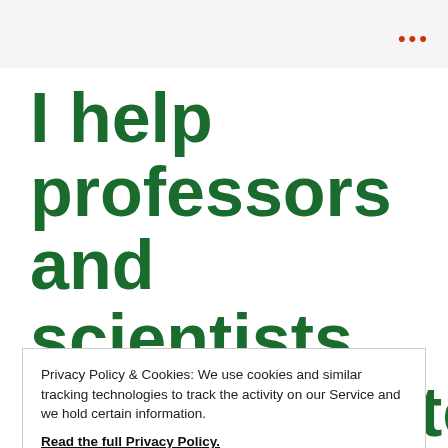I help professors and scientists communicate their
Privacy Policy & Cookies: We use cookies and similar tracking technologies to track the activity on our Service and we hold certain information.
Read the full Privacy Policy.
Close & Accept